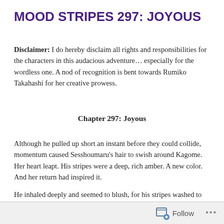MOOD STRIPES 297: JOYOUS
Disclaimer: I do hereby disclaim all rights and responsibilities for the characters in this audacious adventure… especially for the wordless one. A nod of recognition is bent towards Rumiko Takahashi for her creative prowess.
Chapter 297: Joyous
Although he pulled up short an instant before they could collide, momentum caused Sesshoumaru's hair to swish around Kagome. Her heart leapt. His stripes were a deep, rich amber. A new color. And her return had inspired it.
He inhaled deeply and seemed to blush, for his stripes washed to rose.
Follow ...